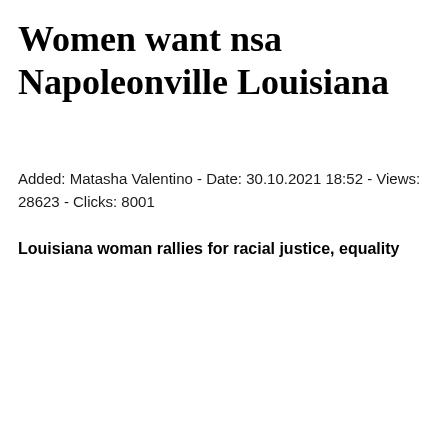Women want nsa Napoleonville Louisiana
Added: Matasha Valentino - Date: 30.10.2021 18:52 - Views: 28623 - Clicks: 8001
Louisiana woman rallies for racial justice, equality